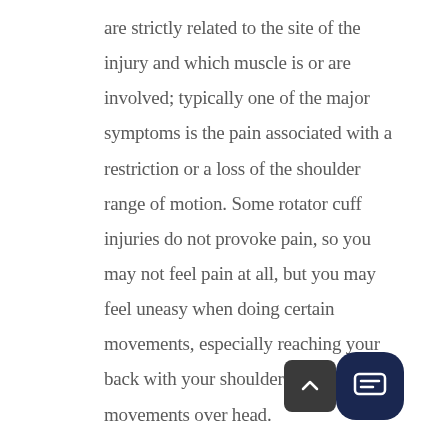are strictly related to the site of the injury and which muscle is or are involved; typically one of the major symptoms is the pain associated with a restriction or a loss of the shoulder range of motion. Some rotator cuff injuries do not provoke pain, so you may not feel pain at all, but you may feel uneasy when doing certain movements, especially reaching your back with your shoulder or doing movements over head.

Another of the symptoms of a rotator cu... a feeling of weakness in your arm. This is becaus...